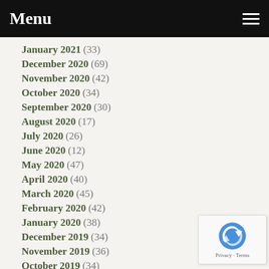Menu
January 2021 (33)
December 2020 (69)
November 2020 (42)
October 2020 (34)
September 2020 (30)
August 2020 (17)
July 2020 (26)
June 2020 (12)
May 2020 (47)
April 2020 (40)
March 2020 (45)
February 2020 (42)
January 2020 (38)
December 2019 (34)
November 2019 (36)
October 2019 (34)
September 2019 (58)
August 2019 (21)
July 2019 (19)